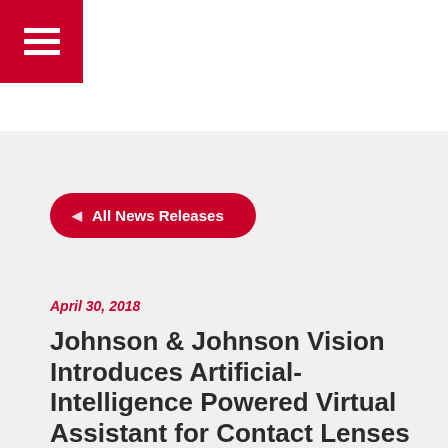[Figure (logo): Red square hamburger menu icon in top-left corner]
◄  All News Releases
April 30, 2018
Johnson & Johnson Vision Introduces Artificial-Intelligence Powered Virtual Assistant for Contact Lenses